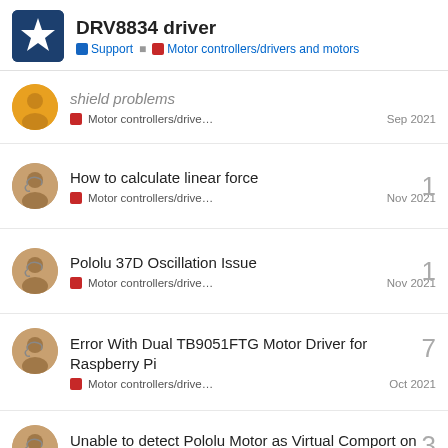DRV8834 driver — Support / Motor controllers/drivers and motors
shield problems — Motor controllers/drive… — Sep 2021
How to calculate linear force — Motor controllers/drive… — Nov 2021 — 1 reply
Pololu 37D Oscillation Issue — Motor controllers/drive… — Nov 2021 — 1 reply
Error With Dual TB9051FTG Motor Driver for Raspberry Pi — Motor controllers/drive… — Oct 2021 — 7 replies
Unable to detect Pololu Motor as Virtual Comport on windows 10 — Motor controllers/drive… — Dec 2021 — 3 replies
Want to read more? Browse other topics in